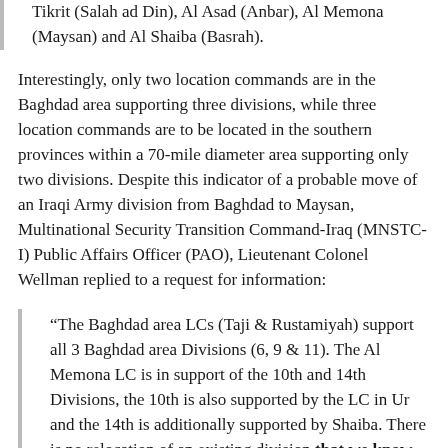Tikrit (Salah ad Din), Al Asad (Anbar), Al Memona (Maysan) and Al Shaiba (Basrah).
Interestingly, only two location commands are in the Baghdad area supporting three divisions, while three location commands are to be located in the southern provinces within a 70-mile diameter area supporting only two divisions. Despite this indicator of a probable move of an Iraqi Army division from Baghdad to Maysan, Multinational Security Transition Command-Iraq (MNSTC-I) Public Affairs Officer (PAO), Lieutenant Colonel Wellman replied to a request for information:
“The Baghdad area LCs (Taji & Rustamiyah) support all 3 Baghdad area Divisions (6, 9 & 11). The Al Memona LC is in support of the 10th and 14th Divisions, the 10th is also supported by the LC in Ur and the 14th is additionally supported by Shaiba. There is no relocation of an existing division that we know of, just three geographically disparate LCs supporting two divisions.”